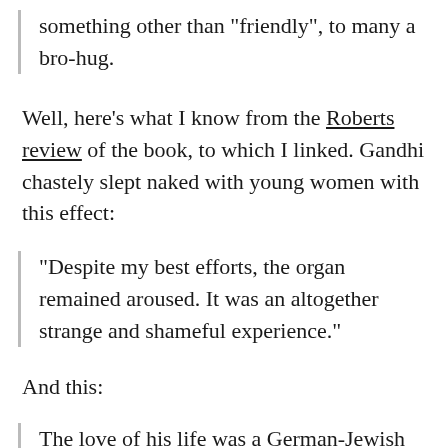something other than "friendly", to many a bro-hug.
Well, here's what I know from the Roberts review of the book, to which I linked. Gandhi chastely slept naked with young women with this effect:
"Despite my best efforts, the organ remained aroused. It was an altogether strange and shameful experience."
And this:
The love of his life was a German-Jewish